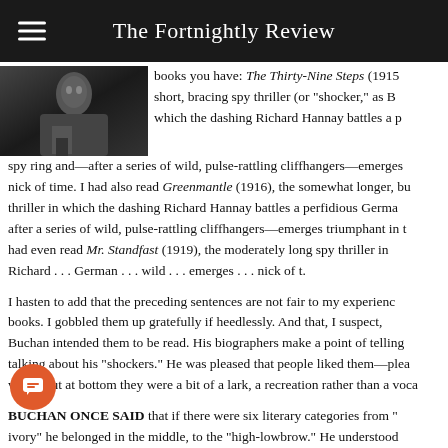The Fortnightly Review
[Figure (photo): Black and white photograph of a person, partially visible on the left side of the page]
books you have: The Thirty-Nine Steps (1915) a short, bracing spy thriller (or "shocker," as B which the dashing Richard Hannay battles a p spy ring and—after a series of wild, pulse-rattling cliffhangers—emerges nick of time. I had also read Greenmantle (1916), the somewhat longer, bu thriller in which the dashing Richard Hannay battles a perfidious Germa after a series of wild, pulse-rattling cliffhangers—emerges triumphant in had even read Mr. Standfast (1919), the moderately long spy thriller in Richard . . . German . . . wild . . . emerges . . . nick of t.
I hasten to add that the preceding sentences are not fair to my experienc books. I gobbled them up gratefully if heedlessly. And that, I suspect, Buchan intended them to be read. His biographers make a point of telling talking about his "shockers." He was pleased that people liked them—plea well—but at bottom they were a bit of a lark, a recreation rather than a voca
BUCHAN ONCE SAID that if there were six literary categories from " ivory" he belonged in the middle, to the "high-lowbrow." He understood popular fiction was a species of "romance where the incidents defy the just inside the borders of the possible." That indeed was part of its critic John Gross observed in his review of Janet Adam Smith's biography "one of the main reasons for enjoying Buchan is because he is so presen